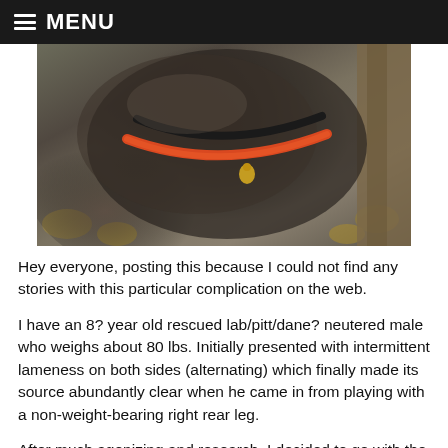MENU
[Figure (photo): Close-up photo of a dark-coated dog wearing a red/orange collar with a small gold charm, outdoors with autumn leaves in background]
Hey everyone, posting this because I could not find any stories with this particular complication on the web.
I have an 8? year old rescued lab/pitt/dane? neutered male who weighs about 80 lbs. Initially presented with intermittent lameness on both sides (alternating) which finally made its source abundantly clear when he came in from playing with a non-weight-bearing right rear leg.
After much agonizing and research, I decided to go with the TPLO procedure to give him the best shot at returning to his normal self. Domino is a pogo stick. He has literally cleared 6ft kennels from a standstill. He jumped into my